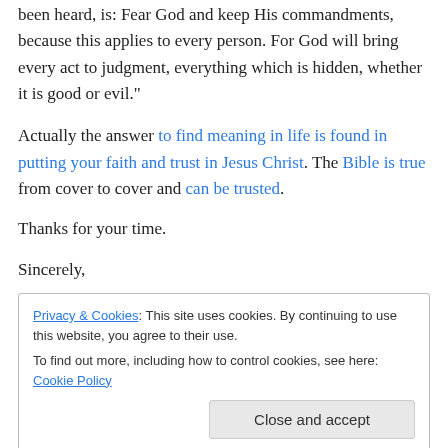been heard, is: Fear God and keep His commandments, because this applies to every person. For God will bring every act to judgment, everything which is hidden, whether it is good or evil."
Actually the answer to find meaning in life is found in putting your faith and trust in Jesus Christ. The Bible is true from cover to cover and can be trusted.
Thanks for your time.
Sincerely,
Privacy & Cookies: This site uses cookies. By continuing to use this website, you agree to their use. To find out more, including how to control cookies, see here: Cookie Policy